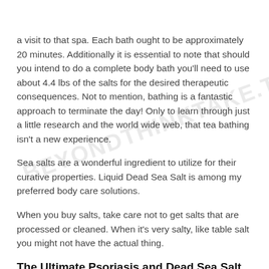a visit to that spa. Each bath ought to be approximately 20 minutes. Additionally it is essential to note that should you intend to do a complete body bath you'll need to use about 4.4 lbs of the salts for the desired therapeutic consequences. Not to mention, bathing is a fantastic approach to terminate the day! Only to learn through just a little research and the world wide web, that tea bathing isn't a new experience.
Sea salts are a wonderful ingredient to utilize for their curative properties. Liquid Dead Sea Salt is among my preferred body care solutions.
When you buy salts, take care not to get salts that are processed or cleaned. When it's very salty, like table salt you might not have the actual thing.
The Ultimate Psoriasis and Dead Sea Salt Trick
There are a number of advantages and therapeutic